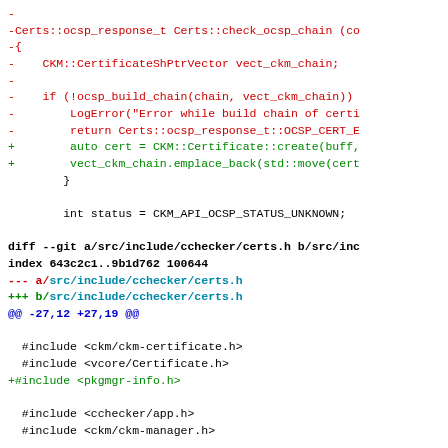[Figure (screenshot): A code diff view showing changes to C++ source files. Red lines are removals, green lines are additions, blue lines are diff headers. The diff includes changes to a function involving OCSP certificate chain building and a header file certs.h with new include for pkgmgr-info.h and new enum sig_t.]